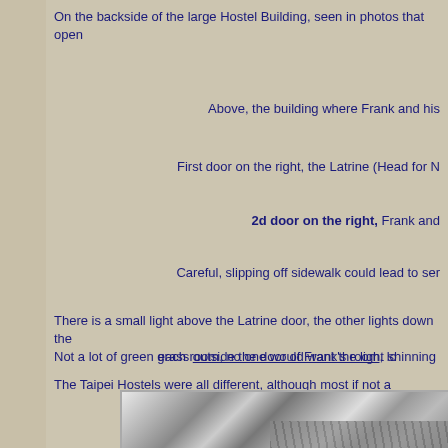On the backside of the large Hostel Building, seen in photos that open
Above, the building where Frank and his
First door on the right, the Latrine (Head for N
2d door on the right, Frank and
Careful, slipping off sidewalk could lead to ser
There is a small light above the Latrine door, the other lights down the each room, no one would want the light shinning
Not a lot of green grass outside the door of Frank's room, lo
The Taipei Hostels were all different, although most if not a
[Figure (photo): Black and white photograph showing trees with foliage and what appears to be a building structure with diagonal lines/roof in the background]